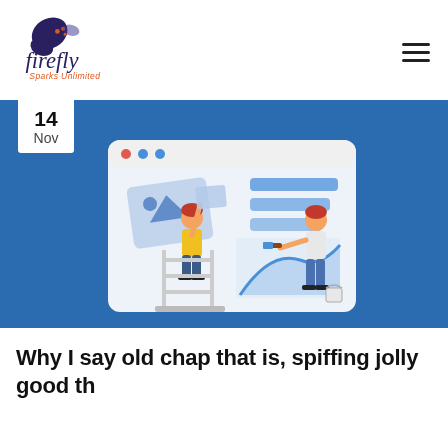[Figure (logo): Firefly Sparks Unlimited logo — stylized butterfly with 'firefly' in cursive script and 'Sparks Unlimited' beneath in orange italic text]
[Figure (illustration): Blue background illustration showing two people designing a website — one on a ladder placing an image placeholder, another painting a chart onto a large browser window mockup with rounded corners]
Why I say old chap that is, spiffing jolly good th